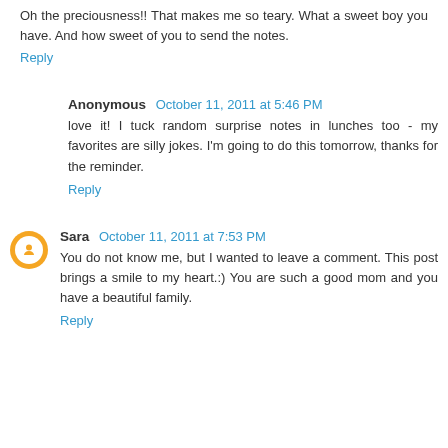Oh the preciousness!! That makes me so teary. What a sweet boy you have. And how sweet of you to send the notes.
Reply
Anonymous October 11, 2011 at 5:46 PM
love it! I tuck random surprise notes in lunches too - my favorites are silly jokes. I'm going to do this tomorrow, thanks for the reminder.
Reply
Sara October 11, 2011 at 7:53 PM
You do not know me, but I wanted to leave a comment. This post brings a smile to my heart.:) You are such a good mom and you have a beautiful family.
Reply